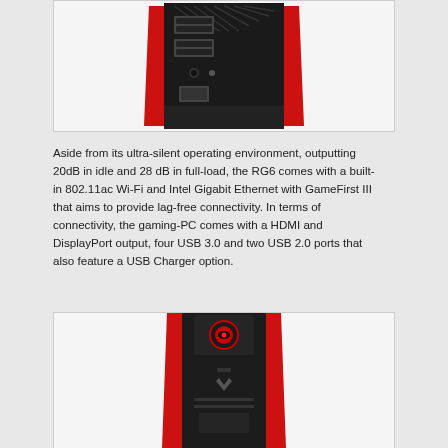[Figure (photo): Top view of ASUS ROG G20 gaming PC (RG6) showing the back panel with USB ports, audio jacks, and red accent sides on black chassis.]
Aside from its ultra-silent operating environment, outputting 20dB in idle and 28 dB in full-load, the RG6 comes with a built-in 802.11ac Wi-Fi and Intel Gigabit Ethernet with GameFirst III that aims to provide lag-free connectivity. In terms of connectivity, the gaming-PC comes with a HDMI and DisplayPort output, four USB 3.0 and two USB 2.0 ports that also feature a USB Charger option.
[Figure (photo): Front view of ASUS ROG G20 gaming PC showing the top portion with the ROG logo glowing red, with red accent side panels on a black chassis.]